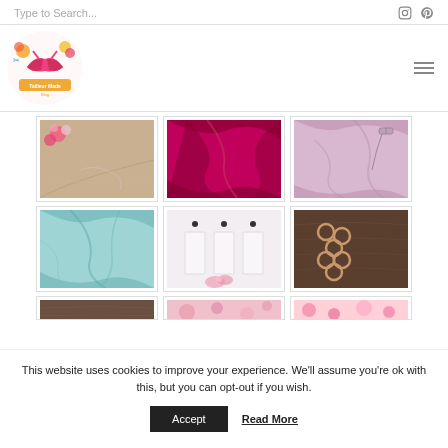Type to Search...
[Figure (logo): Tailleur Made Blog logo — colorful illustration of a pink bralette with flowers]
[Figure (photo): Beige fabric with pink flowers in corner, sewing pattern outline]
[Figure (photo): Deep magenta/crimson fabric draped in folds]
[Figure (photo): Light pink/mauve fabric draped with bra strap hardware]
[Figure (photo): Light blue/aqua fabric draped in soft folds]
[Figure (photo): White elastic bands with three black dotted markers, pink flower]
[Figure (photo): Dark brown wood surface with rose gold metal O-rings]
[Figure (photo): Dark wood surface partially visible]
[Figure (photo): Pink floral fabric partially visible]
[Figure (photo): Bright pink floral fabric partially visible]
This website uses cookies to improve your experience. We'll assume you're ok with this, but you can opt-out if you wish.
Accept
Read More